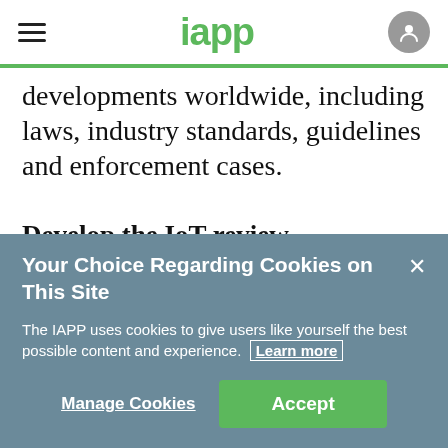iapp
developments worldwide, including laws, industry standards, guidelines and enforcement cases.
Develop the IoT review framework:
Create a cross-functional data review board to…
Your Choice Regarding Cookies on This Site
The IAPP uses cookies to give users like yourself the best possible content and experience. Learn more
Manage Cookies  Accept